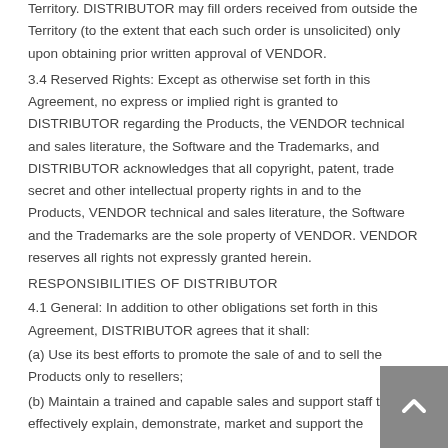Territory. DISTRIBUTOR may fill orders received from outside the Territory (to the extent that each such order is unsolicited) only upon obtaining prior written approval of VENDOR.
3.4 Reserved Rights: Except as otherwise set forth in this Agreement, no express or implied right is granted to DISTRIBUTOR regarding the Products, the VENDOR technical and sales literature, the Software and the Trademarks, and DISTRIBUTOR acknowledges that all copyright, patent, trade secret and other intellectual property rights in and to the Products, VENDOR technical and sales literature, the Software and the Trademarks are the sole property of VENDOR. VENDOR reserves all rights not expressly granted herein.
RESPONSIBILITIES OF DISTRIBUTOR
4.1 General: In addition to other obligations set forth in this Agreement, DISTRIBUTOR agrees that it shall:
(a) Use its best efforts to promote the sale of and to sell the Products only to resellers;
(b) Maintain a trained and capable sales and support staff to effectively explain, demonstrate, market and support the